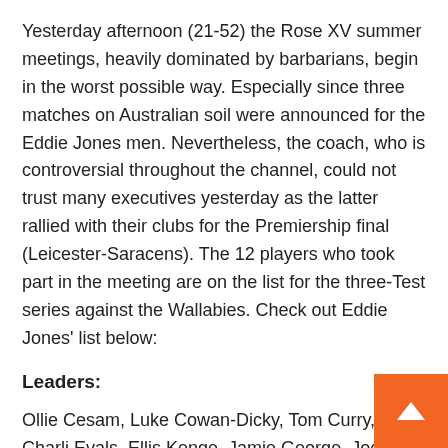Yesterday afternoon (21-52) the Rose XV summer meetings, heavily dominated by barbarians, begin in the worst possible way. Especially since three matches on Australian soil were announced for the Eddie Jones men. Nevertheless, the coach, who is controversial throughout the channel, could not trust many executives yesterday as the latter rallied with their clubs for the Premiership final (Leicester-Saracens). The 12 players who took part in the meeting are on the list for the three-Test series against the Wallabies. Check out Eddie Jones' list below:
Leaders:
Ollie Cesam, Luke Cowan-Dicky, Tom Curry, Charli Evals, Ellis Kenge, Jamie George, Joe Hayes, John Hill, Nick Isiquay, Marrow Idoze, Courtney Loves, Louis Lutlum, Rayan Rod, Patrick Schickling, (Fek) Stuart